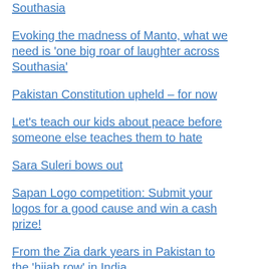Southasia
Evoking the madness of Manto, what we need is 'one big roar of laughter across Southasia'
Pakistan Constitution upheld – for now
Let's teach our kids about peace before someone else teaches them to hate
Sara Suleri bows out
Sapan Logo competition: Submit your logos for a good cause and win a cash prize!
From the Zia dark years in Pakistan to the 'hijab row' in India
Chakwalians, Rotarians to gather for "a tsunami of peace" reunion at Kartarpur Corridor